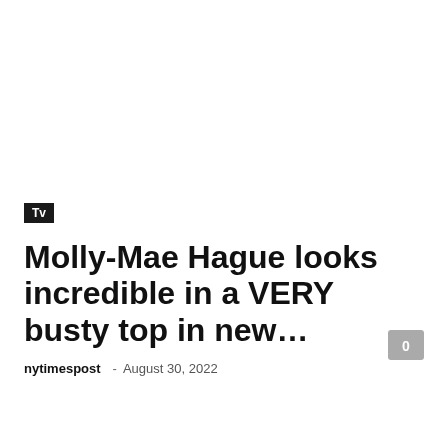[Figure (photo): Blank white image area at the top of the article card]
Tv
Molly-Mae Hague looks incredible in a VERY busty top in new…
nytimespost - August 30, 2022